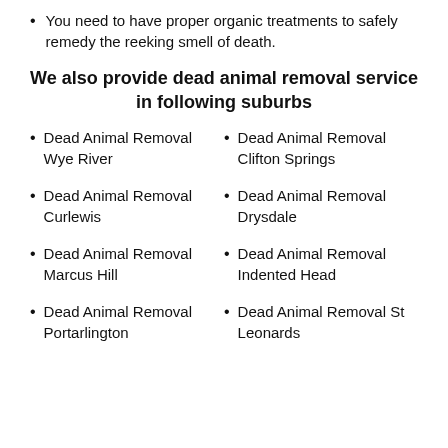You need to have proper organic treatments to safely remedy the reeking smell of death.
We also provide dead animal removal service in following suburbs
Dead Animal Removal Wye River
Dead Animal Removal Clifton Springs
Dead Animal Removal Curlewis
Dead Animal Removal Drysdale
Dead Animal Removal Marcus Hill
Dead Animal Removal Indented Head
Dead Animal Removal Portarlington
Dead Animal Removal St Leonards